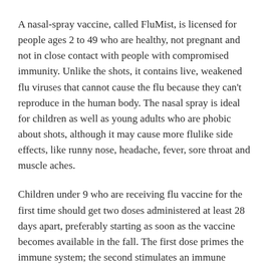A nasal-spray vaccine, called FluMist, is licensed for people ages 2 to 49 who are healthy, not pregnant and not in close contact with people with compromised immunity. Unlike the shots, it contains live, weakened flu viruses that cannot cause the flu because they can't reproduce in the human body. The nasal spray is ideal for children as well as young adults who are phobic about shots, although it may cause more flulike side effects, like runny nose, headache, fever, sore throat and muscle aches.
Children under 9 who are receiving flu vaccine for the first time should get two doses administered at least 28 days apart, preferably starting as soon as the vaccine becomes available in the fall. The first dose primes the immune system; the second stimulates an immune response. Either dose can be administered as a nasal spray or a shot.